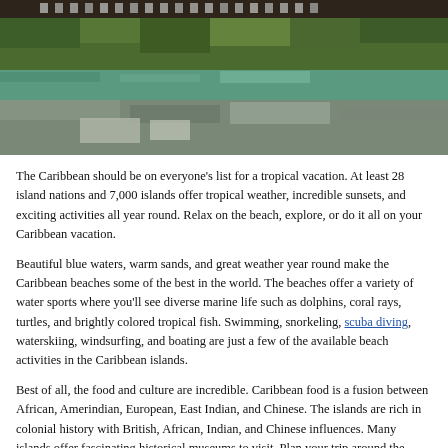[Figure (photo): Aerial or close-up photo of Caribbean scene showing tropical vegetation, coral, and shallow water with pixelated/blurred appearance.]
The Caribbean should be on everyone's list for a tropical vacation. At least 28 island nations and 7,000 islands offer tropical weather, incredible sunsets, and exciting activities all year round. Relax on the beach, explore, or do it all on your Caribbean vacation.
Beautiful blue waters, warm sands, and great weather year round make the Caribbean beaches some of the best in the world. The beaches offer a variety of water sports where you'll see diverse marine life such as dolphins, coral rays, turtles, and brightly colored tropical fish. Swimming, snorkeling, scuba diving, waterskiing, windsurfing, and boating are just a few of the available beach activities in the Caribbean islands.
Best of all, the food and culture are incredible. Caribbean food is a fusion between African, Amerindian, European, East Indian, and Chinese. The islands are rich in colonial history with British, African, Indian, and Chinese influences. Many islands offer fascinating historical museums to visit. Plan your trip around the many festivals that are a key part of Caribbean life. Most